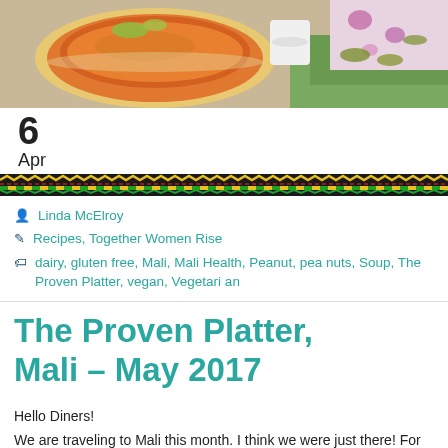[Figure (photo): Photo of a bowl of orange/red soup with garnish, placed on a surface next to a green folded cloth and floral patterned fabric]
6
Apr
[Figure (illustration): Decorative border with zigzag pattern in yellow, red, and green on dark background]
Linda McElroy
Recipes, Together Women Rise
dairy, gluten free, Mali, Mali Health, Peanut, peanuts, Soup, The Proven Platter, vegan, Vegetarian
The Proven Platter, Mali – May 2017
Hello Diners!
We are traveling to Mali this month. I think we were just there! For this month's Proven Platter recipe, I